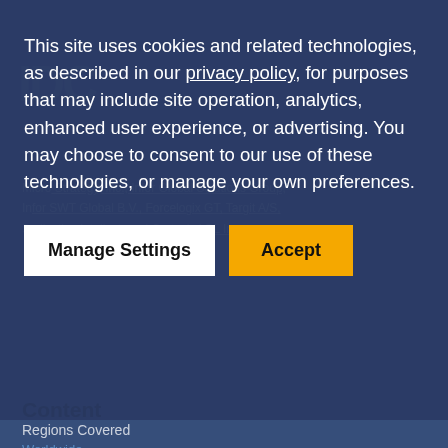This site uses cookies and related technologies, as described in our privacy policy, for purposes that may include site operation, analytics, enhanced user experience, or advertising. You may choose to consent to our use of these technologies, or manage your own preferences.
Manage Settings
Accept
Regions Covered
Worldwide
Topics Covered
Financial resource management, Governance, risk and compliance infrastructure
Content